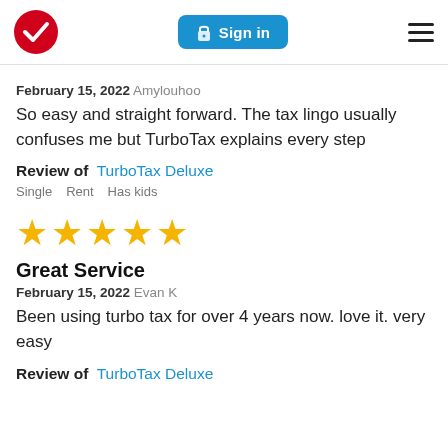TurboTax logo | Sign in | Menu
February 15, 2022 Amylouhoo
So easy and straight forward. The tax lingo usually confuses me but TurboTax explains every step
Review of   TurboTax Deluxe
Single   Rent   Has kids
[Figure (other): Five gold star rating icons]
Great Service
February 15, 2022 Evan K
Been using turbo tax for over 4 years now. love it. very easy
Review of   TurboTax Deluxe